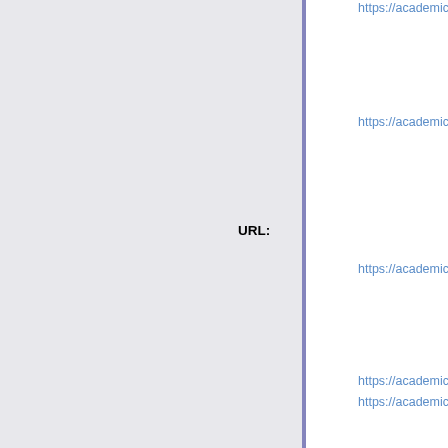https://academic.oup.com/journals
https://academic.oup.com/journals
URL:
https://academic.oup.com/journals
https://academic.oup.com/journals
https://academic.oup.com/journals
https://academic.oup.com/journals
https://academic.oup.com/journals
Conflict: No
Refereed Source: Ulrichsweb
Ulrichsweb ID: 211217